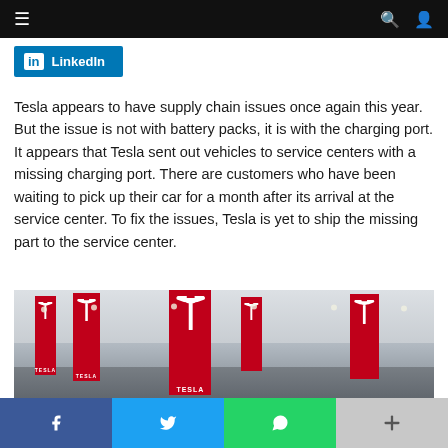Navigation bar with menu, search and user icons
LinkedIn
Tesla appears to have supply chain issues once again this year. But the issue is not with battery packs, it is with the charging port. It appears that Tesla sent out vehicles to service centers with a missing charging port. There are customers who have been waiting to pick up their car for a month after its arrival at the service center. To fix the issues, Tesla is yet to ship the missing part to the service center.
[Figure (photo): Interior of a large Tesla service/delivery center with multiple red Tesla banners hanging from the ceiling and rows of dark-colored Tesla vehicles parked on the floor.]
Social share buttons: Facebook, Twitter, WhatsApp, More